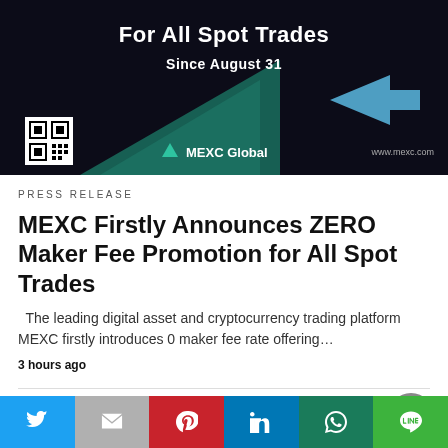[Figure (screenshot): MEXC Global promotional banner with dark background, teal triangle design, QR code, and text 'For All Spot Trades' and 'Since August 31']
PRESS RELEASE
MEXC Firstly Announces ZERO Maker Fee Promotion for All Spot Trades
The leading digital asset and cryptocurrency trading platform MEXC firstly introduces 0 maker fee rate offering…
3 hours ago
All Rights Reserved  View Non-AMP Version